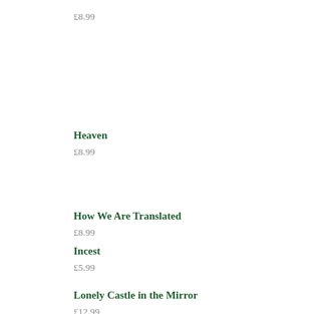£8.99
Heaven
£8.99
How We Are Translated
£8.99
Incest
£5.99
Lonely Castle in the Mirror
£12.99